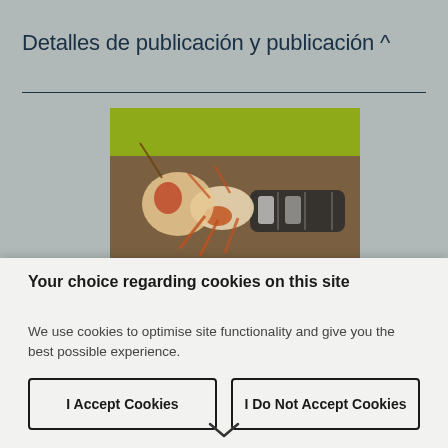Detalles de publicación y publicación ^
[Figure (photo): Book cover image showing a close-up illustration of an insect (wasp or ant) on a brown background with a green band at the top]
Your choice regarding cookies on this site
We use cookies to optimise site functionality and give you the best possible experience.
I Accept Cookies
I Do Not Accept Cookies